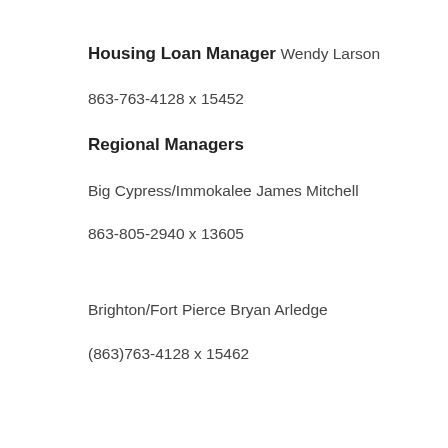Housing Loan Manager
Wendy Larson
863-763-4128 x 15452
Regional Managers
Big Cypress/Immokalee
James Mitchell
863-805-2940 x 13605
Brighton/Fort Pierce
Bryan Arledge
(863)763-4128 x 15462